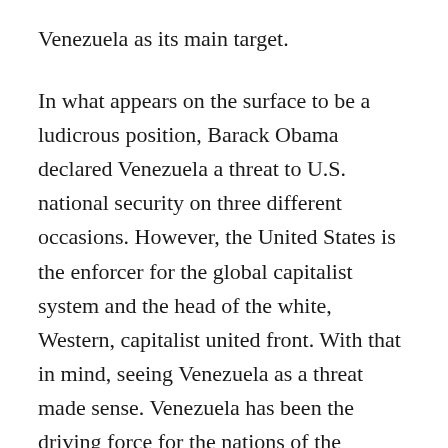Venezuela as its main target.
In what appears on the surface to be a ludicrous position, Barack Obama declared Venezuela a threat to U.S. national security on three different occasions. However, the United States is the enforcer for the global capitalist system and the head of the white, Western, capitalist united front. With that in mind, seeing Venezuela as a threat made sense. Venezuela has been the driving force for the nations of the Americas south of the U.S. border attempting to free themselves from the yoke of U.S. imperialism.
The Trump administration took up with enthusiasm the policy of destabilization, subversion, and economic